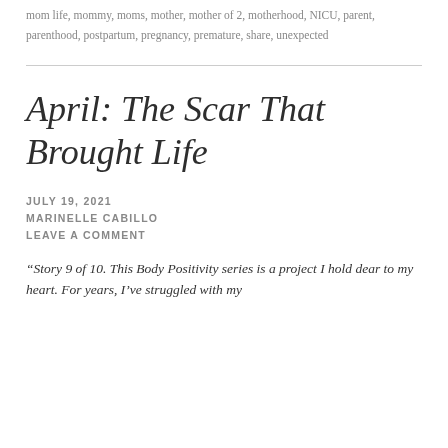mom life, mommy, moms, mother, mother of 2, motherhood, NICU, parent, parenthood, postpartum, pregnancy, premature, share, unexpected
April: The Scar That Brought Life
JULY 19, 2021
MARINELLE CABILLO
LEAVE A COMMENT
“Story 9 of 10. This Body Positivity series is a project I hold dear to my heart. For years, I’ve struggled with my